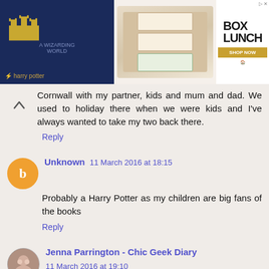[Figure (photo): BoxLunch advertisement banner featuring Harry Potter themed merchandise with castle illustration on dark blue background, clothing products in middle, and BoxLunch logo with Shop Now button on right]
Cornwall with my partner, kids and mum and dad. We used to holiday there when we were kids and I've always wanted to take my two back there.
Reply
Unknown 11 March 2016 at 18:15
Probably a Harry Potter as my children are big fans of the books
Reply
Jenna Parrington - Chic Geek Diary 11 March 2016 at 19:10
Oh it's got to be Dorset and I would take my partner and our son Noah.
Reply